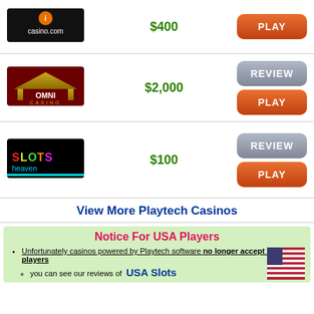[Figure (logo): Casino.com logo - black background with casino.com text]
$400
[Figure (other): Orange PLAY button]
[Figure (logo): Omni Casino logo - red/gold casino logo]
$2,000
[Figure (other): Grey REVIEW button and Orange PLAY button]
[Figure (logo): Slots Heaven logo - colorful neon slots text on black]
$100
[Figure (other): Grey REVIEW button and Orange PLAY button]
View More Playtech Casinos
Notice For USA Players
Unfortunately casinos powered by Playtech software no longer accept US players
you can see our reviews of USA Slots
[Figure (illustration): US flag]